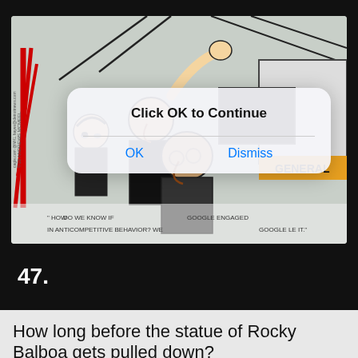[Figure (illustration): A political cartoon showing congressional members looking confused at screens, with a 'Click OK to Continue' iOS-style alert dialog overlaid on the image. The cartoon is credited to ©19 Andrews McMeel. Caption text at bottom reads: 'HOW DO WE KNOW IF GOOGLE ENGAGED IN ANTICOMPETITIVE BEHAVIOR? WE GOOGLE IT.']
47.
How long before the statue of Rocky Balboa gets pulled down?